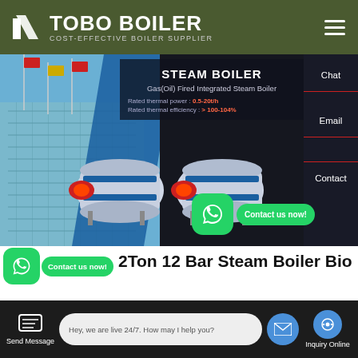[Figure (logo): TOBO BOILER logo with icon and text 'COST-EFFECTIVE BOILER SUPPLIER' on dark olive green header]
[Figure (screenshot): Website screenshot showing STEAM BOILER product page with Gas(Oil) Fired Integrated Steam Boiler, rated thermal power 0.5-20t/h, rated thermal efficiency >100-104%, with images of industrial boilers on dark background. Side panel shows Chat and Email options. Contact us now WhatsApp button visible.]
2Ton 12 Bar Steam Boiler Biomass
[Figure (screenshot): Bottom toolbar with Send Message icon, live chat bubble saying 'Hey, we are live 24/7. How may I help you?', and Inquiry Online button]